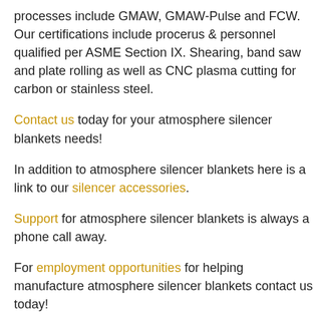processes include GMAW, GMAW-Pulse and FCW. Our certifications include procerus & personnel qualified per ASME Section IX. Shearing, band saw and plate rolling as well as CNC plasma cutting for carbon or stainless steel.
Contact us today for your atmosphere silencer blankets needs!
In addition to atmosphere silencer blankets here is a link to our silencer accessories.
Support for atmosphere silencer blankets is always a phone call away.
For employment opportunities for helping manufacture atmosphere silencer blankets contact us today!
In addition to atmosphere silencer blankets Maxim's waste heat recovery silencers may be used I applications